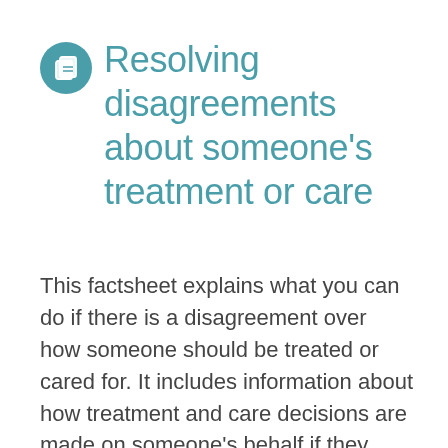Resolving disagreements about someone's treatment or care
This factsheet explains what you can do if there is a disagreement over how someone should be treated or cared for. It includes information about how treatment and care decisions are made on someone's behalf if they are unable to make or communicate a decision, and what steps you can